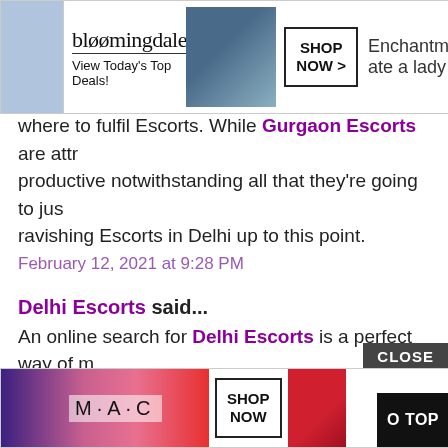[Figure (screenshot): Bloomingdale's advertisement banner: logo, 'View Today's Top Deals!', model with hat, SHOP NOW button, partial text 'Enchantm... ate a lady']
where to fulfil Escorts. While Gurgaon Escorts are attr... productive notwithstanding all that they're going to jus... ravishing Escorts in Delhi up to this point.
February 12, 2021 at 9:28 PM
Delhi Escorts said...
An online search for Delhi Escorts is a perfect way of m... receive a popular type of Hot Escorts service. This esco... hot beauties a lot. Making sure that you will receive eve... for. Please Visit now... Escort Service in Delhi🔛🔛🔛🔛
February 13, 2021 at 3:13 AM
[Figure (screenshot): M·A·C cosmetics advertisement banner with lipstick products, SHOP NOW button, CLOSE button, and GO TOP button]